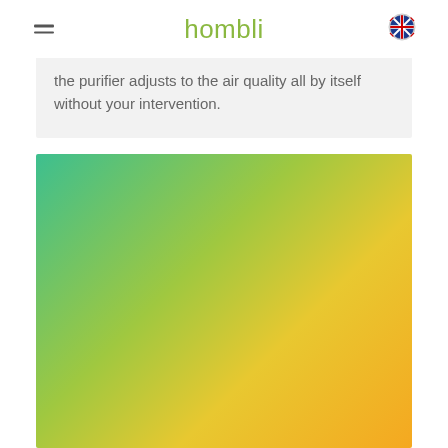hombli
the purifier adjusts to the air quality all by itself without your intervention.
[Figure (illustration): Green to yellow gradient background image filling the lower portion of the page]